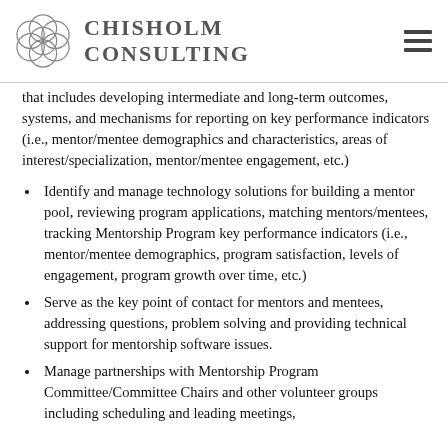Chisholm Consulting
that includes developing intermediate and long-term outcomes, systems, and mechanisms for reporting on key performance indicators (i.e., mentor/mentee demographics and characteristics, areas of interest/specialization, mentor/mentee engagement, etc.)
Identify and manage technology solutions for building a mentor pool, reviewing program applications, matching mentors/mentees, tracking Mentorship Program key performance indicators (i.e., mentor/mentee demographics, program satisfaction, levels of engagement, program growth over time, etc.)
Serve as the key point of contact for mentors and mentees, addressing questions, problem solving and providing technical support for mentorship software issues.
Manage partnerships with Mentorship Program Committee/Committee Chairs and other volunteer groups including scheduling and leading meetings,